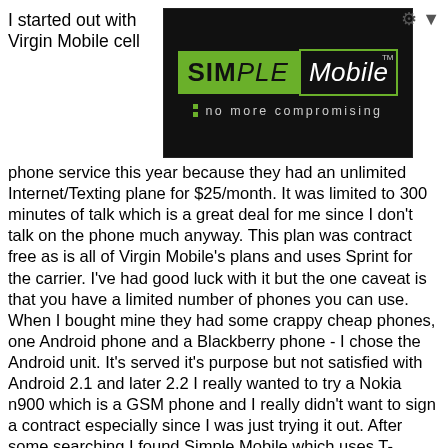[Figure (logo): Simple Mobile logo on black background with green SIMPLE block and bordered Mobile text, tagline 'no more compromising']
I started out with Virgin Mobile cell phone service this year because they had an unlimited Internet/Texting plane for $25/month. It was limited to 300 minutes of talk which is a great deal for me since I don't talk on the phone much anyway. This plan was contract free as is all of Virgin Mobile's plans and uses Sprint for the carrier. I've had good luck with it but the one caveat is that you have a limited number of phones you can use. When I bought mine they had some crappy cheap phones, one Android phone and a Blackberry phone - I chose the Android unit. It's served it's purpose but not satisfied with Android 2.1 and later 2.2 I really wanted to try a Nokia n900 which is a GSM phone and I really didn't want to sign a contract especially since I was just trying it out. After some searching I found Simple Mobile which uses T-Mobile as a carrier, has contract free plans from $40-60/month and worked with the Nokia so I jumped in. I've